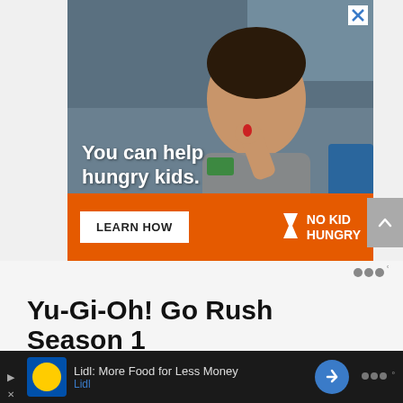[Figure (photo): Advertisement showing a young child eating, with text overlay 'You can help hungry kids.' and a No Kid Hungry branding bar with 'LEARN HOW' button and No Kid Hungry logo.]
Yu-Gi-Oh! Go Rush Season 1
[Figure (screenshot): Bottom banner advertisement for Lidl: More Food for Less Money with Lidl branding and navigation arrow.]